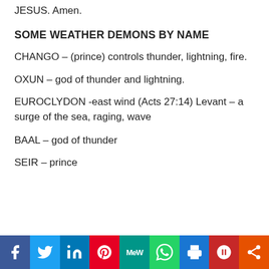JESUS. Amen.
SOME WEATHER DEMONS BY NAME
CHANGO – (prince) controls thunder, lightning, fire.
OXUN – god of thunder and lightning.
EUROCLYDON -east wind (Acts 27:14) Levant – a surge of the sea, raging, wave
BAAL – god of thunder
SEIR – prince
Social share icons: Facebook, Twitter, LinkedIn, Pinterest, MeWe, WhatsApp, Print, Parler, Share